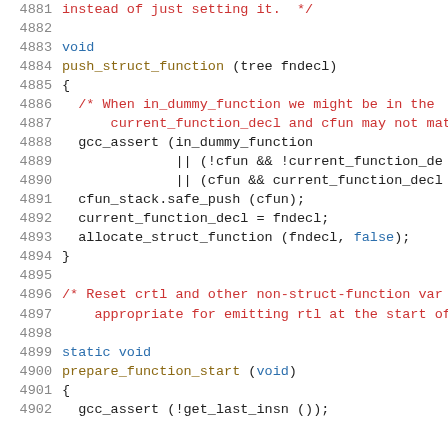Source code listing lines 4881-4902, showing push_struct_function and prepare_function_start C functions with comments
[Figure (screenshot): C source code with syntax highlighting: line numbers in gray on left, keywords in blue, comments in red, identifiers in dark yellow/black, on white background. Lines 4881-4902 shown.]